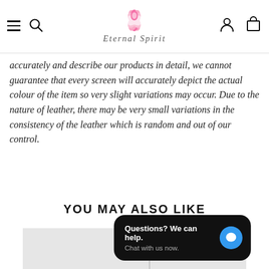[Figure (logo): Eternal Spirit brand logo with pink lotus flower above cursive script text]
accurately and describe our products in detail, we cannot guarantee that every screen will accurately depict the actual colour of the item so very slight variations may occur. Due to the nature of leather, there may be very small variations in the consistency of the leather which is random and out of our control.
YOU MAY ALSO LIKE
[Figure (screenshot): Gray product thumbnail bar at the bottom of the page with a vertical divider]
[Figure (other): Chat widget overlay with dark background reading 'Questions? We can help. Chat with us now.' with a blue speech bubble icon]